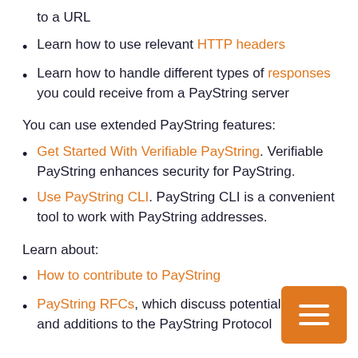to a URL
Learn how to use relevant HTTP headers
Learn how to handle different types of responses you could receive from a PayString server
You can use extended PayString features:
Get Started With Verifiable PayString. Verifiable PayString enhances security for PayString.
Use PayString CLI. PayString CLI is a convenient tool to work with PayString addresses.
Learn about:
How to contribute to PayString
PayString RFCs, which discuss potential c and additions to the PayString Protocol